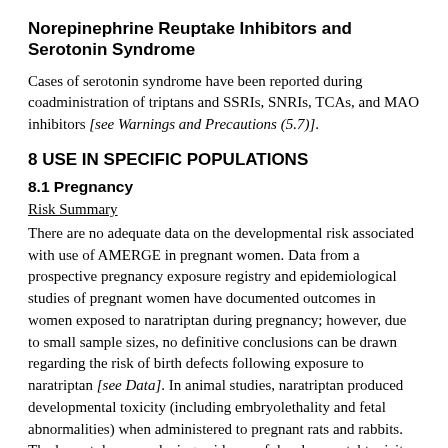Norepinephrine Reuptake Inhibitors and Serotonin Syndrome
Cases of serotonin syndrome have been reported during coadministration of triptans and SSRIs, SNRIs, TCAs, and MAO inhibitors [see Warnings and Precautions (5.7)].
8 USE IN SPECIFIC POPULATIONS
8.1 Pregnancy
Risk Summary
There are no adequate data on the developmental risk associated with use of AMERGE in pregnant women. Data from a prospective pregnancy exposure registry and epidemiological studies of pregnant women have documented outcomes in women exposed to naratriptan during pregnancy; however, due to small sample sizes, no definitive conclusions can be drawn regarding the risk of birth defects following exposure to naratriptan [see Data]. In animal studies, naratriptan produced developmental toxicity (including embryolethality and fetal abnormalities) when administered to pregnant rats and rabbits. The lowest doses producing evidence of developmental toxicity in animals were associated with plasma exposures 2.5 (rabbit) to 11 (rat) times that in humans at the maximum recommended